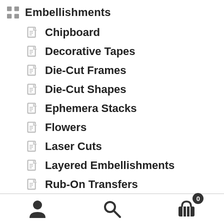Embellishments
Chipboard
Decorative Tapes
Die-Cut Frames
Die-Cut Shapes
Ephemera Stacks
Flowers
Laser Cuts
Layered Embellishments
Rub-On Transfers
Stickers
Foundation Albums
[Figure (infographic): Bottom navigation bar with user/account icon, search icon, and shopping cart icon with badge showing 0]